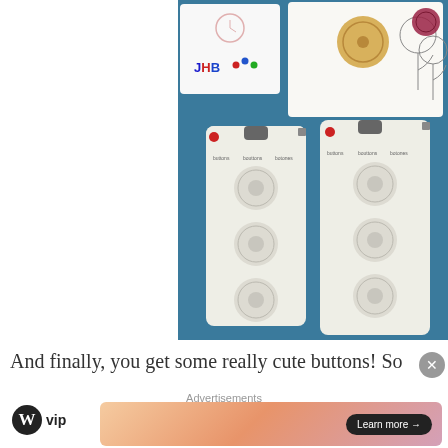[Figure (photo): Photo of button packages on a teal/blue surface. Shows JHB branded button card, a floral card with decorative buttons, and two rectangular white button cards each containing three circular patterned buttons arranged vertically.]
And finally, you get some really cute buttons!  So
Advertisements
[Figure (logo): WordPress VIP logo with circular W icon and 'vip' text]
[Figure (infographic): Advertisement banner with peach/pink gradient and 'Learn more →' button]